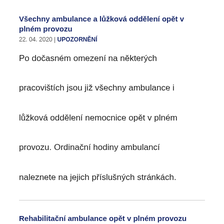Všechny ambulance a lůžková oddělení opět v plném provozu
22. 04. 2020 | UPOZORNĚNÍ
Po dočasném omezení na některých pracovištích jsou již všechny ambulance i lůžková oddělení nemocnice opět v plném provozu. Ordinační hodiny ambulancí naleznete na jejich příslušných stránkách.
Rehabilitační ambulance opět v plném provozu
15. 04. 2020 | UPOZORNĚNÍ
Upozorňujeme klienty, že rehabilitační ambulance a fyzioterapie jsou po krátkém